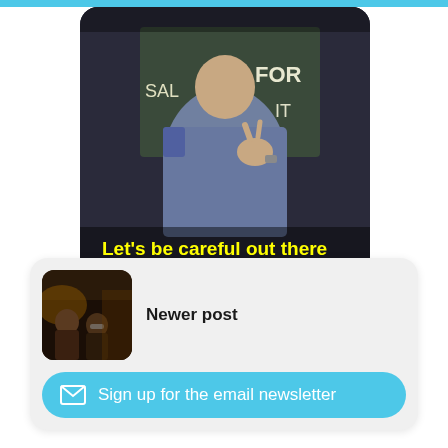[Figure (screenshot): Screenshot of a TV show scene showing a police officer in uniform with text subtitle 'Let's be careful out there' in yellow]
[Figure (infographic): Three circular social share buttons: Twitter (bird icon), Facebook (f icon), and a third share button (circle with plus icon)]
[Figure (screenshot): Newer post card with a thumbnail image of people in a dimly lit scene]
Newer post
Sign up for the email newsletter